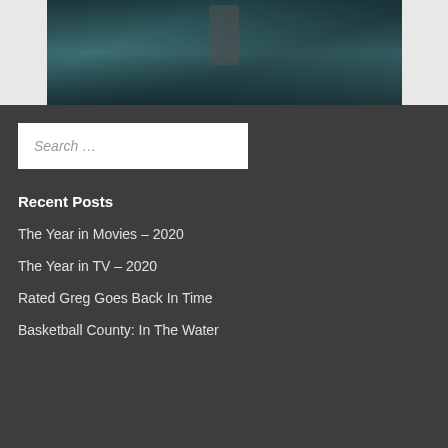[Figure (photo): A dark image showing figures, partially visible at the top of the page]
Search ...
Recent Posts
The Year in Movies – 2020
The Year in TV – 2020
Rated Greg Goes Back In Time
Basketball County: In The Water